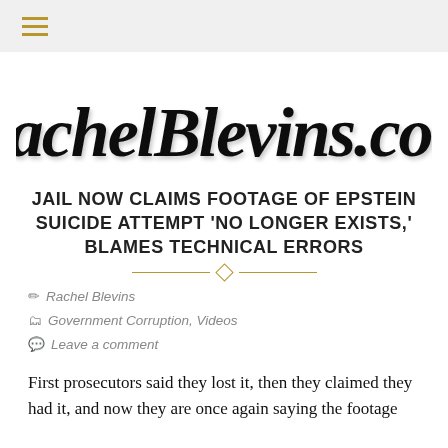≡ (navigation menu icon)
[Figure (logo): RachelBlevins.com handwritten script logo in black]
JAIL NOW CLAIMS FOOTAGE OF EPSTEIN SUICIDE ATTEMPT 'NO LONGER EXISTS,' BLAMES TECHNICAL ERRORS
Rachel Blevins
Government Corruption, Videos
Leave a comment
First prosecutors said they lost it, then they claimed they had it, and now they are once again saying the footage